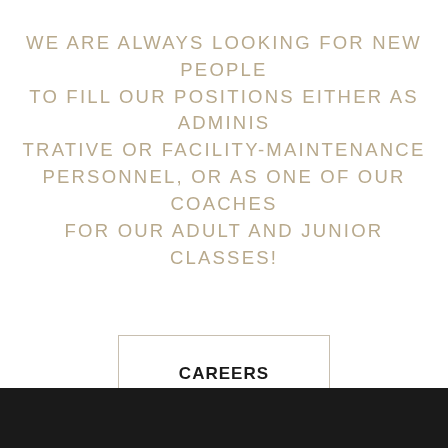WE ARE ALWAYS LOOKING FOR NEW PEOPLE TO FILL OUR POSITIONS EITHER AS ADMINISTRATIVE OR FACILITY-MAINTENANCE PERSONNEL, OR AS ONE OF OUR COACHES FOR OUR ADULT AND JUNIOR CLASSES!
CAREERS